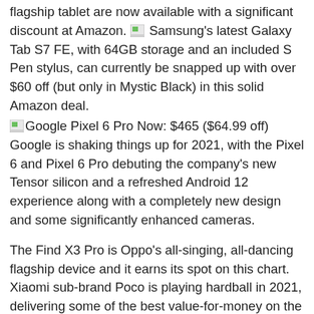flagship tablet are now available with a significant discount at Amazon. Samsung's latest Galaxy Tab S7 FE, with 64GB storage and an included S Pen stylus, can currently be snapped up with over $60 off (but only in Mystic Black) in this solid Amazon deal.
Google Pixel 6 Pro Now: $465 ($64.99 off) Google is shaking things up for 2021, with the Pixel 6 and Pixel 6 Pro debuting the company's new Tensor silicon and a refreshed Android 12 experience along with a completely new design and some significantly enhanced cameras.
The Find X3 Pro is Oppo's all-singing, all-dancing flagship device and it earns its spot on this chart. Xiaomi sub-brand Poco is playing hardball in 2021, delivering some of the best value-for-money on the smartphone scene by quite some margin. A Snapdragon 888 runs the show, paired with up to 12GB of speedy LPDDR5 RAM and accompanied by equally snappy UFS 3.1 storage (up to 256GB).